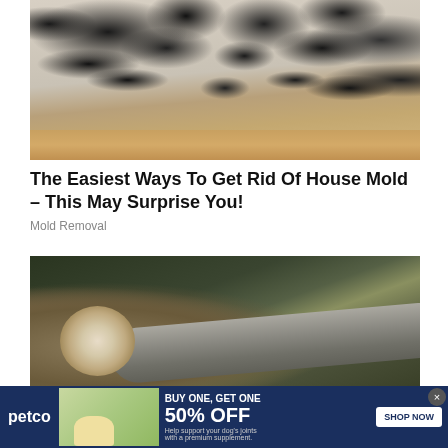[Figure (photo): Close-up photo of black mold growing on white walls in a corner of a room, with wooden baseboard and hardwood floor visible]
The Easiest Ways To Get Rid Of House Mold – This May Surprise You!
Mold Removal
[Figure (photo): Photo of a cut log (cross-section visible) lying on the ground in a forested area, showing tree rings]
[Figure (other): Petco advertisement banner: BUY ONE, GET ONE 50% OFF – Help support your dog's joints with a premium supplement. SHOP NOW button. Shows woman with golden retriever dog and supplement bottle.]